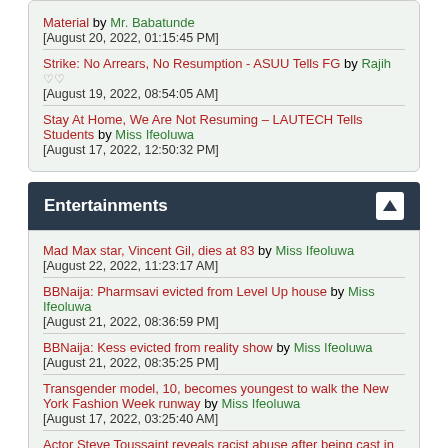Material by Mr. Babatunde [August 20, 2022, 01:15:45 PM]
Strike: No Arrears, No Resumption - ASUU Tells FG by Rajih [August 19, 2022, 08:54:05 AM]
Stay At Home, We Are Not Resuming – LAUTECH Tells Students by Miss Ifeoluwa [August 17, 2022, 12:50:32 PM]
Entertainments
Mad Max star, Vincent Gil, dies at 83 by Miss Ifeoluwa [August 22, 2022, 11:23:17 AM]
BBNaija: Pharmsavi evicted from Level Up house by Miss Ifeoluwa [August 21, 2022, 08:36:59 PM]
BBNaija: Kess evicted from reality show by Miss Ifeoluwa [August 21, 2022, 08:35:25 PM]
Transgender model, 10, becomes youngest to walk the New York Fashion Week runway by Miss Ifeoluwa [August 17, 2022, 03:25:40 AM]
Actor Steve Toussaint reveals racist abuse after being cast in House of the... by Miss Ifeoluwa [August 16, 2022, 10:22:10 AM]
R. Kelly wants to ban jurors who have seen 'Surviving R. Kelly' from trial by Rajih